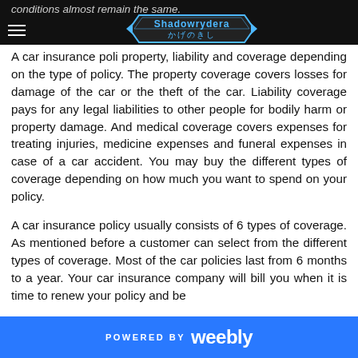Shadowrydera かげのきし — site logo and navigation
A car insurance policy usually consists of property, liability and coverage depending on the type of policy. The property coverage covers losses for damage of the car or the theft of the car. Liability coverage pays for any legal liabilities to other people for bodily harm or property damage. And medical coverage covers expenses for treating injuries, medicine expenses and funeral expenses in case of a car accident. You may buy the different types of coverage depending on how much you want to spend on your policy.
A car insurance policy usually consists of 6 types of coverage. As mentioned before a customer can select from the different types of coverage. Most of the car policies last from 6 months to a year. Your car insurance company will bill you when it is time to renew your policy and be
POWERED BY weebly